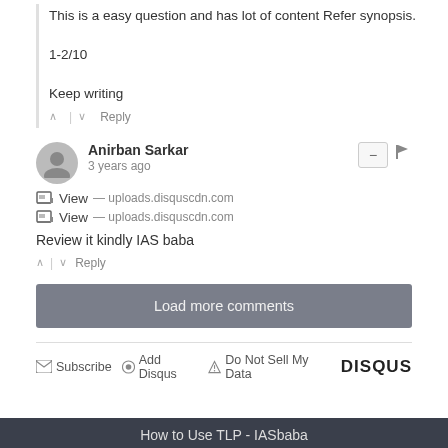This is a easy question and has lot of content Refer synopsis.

1-2/10

Keep writing
Anirban Sarkar
3 years ago
View — uploads.disquscdn.com
View — uploads.disquscdn.com
Review it kindly IAS baba
Load more comments
Subscribe  Add Disqus  Do Not Sell My Data  DISQUS
How to Use TLP - IASbaba